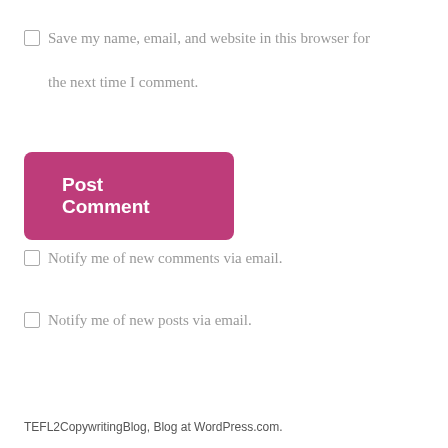Save my name, email, and website in this browser for the next time I comment.
[Figure (other): Post Comment button — a large magenta/pink rounded rectangle button with white bold text reading 'Post Comment']
Notify me of new comments via email.
Notify me of new posts via email.
TEFL2CopywritingBlog, Blog at WordPress.com.